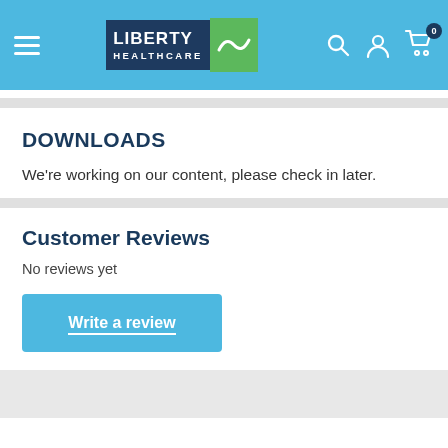Liberty Healthcare — navigation header with logo, search, account, and cart icons
DOWNLOADS
We're working on our content, please check in later.
Customer Reviews
No reviews yet
Write a review